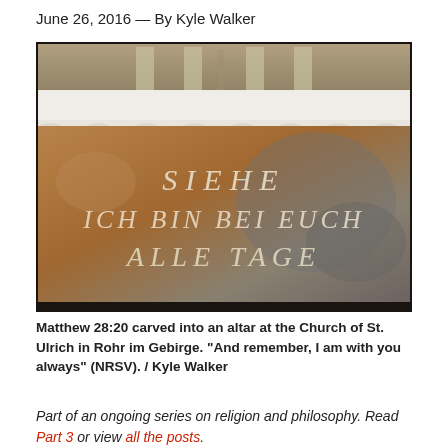June 26, 2016 — By Kyle Walker
[Figure (photo): A stone altar at the Church of St. Ulrich in Rohr im Gebirge with the German text 'SIEHE ICH BIN BEI EUCH ALLE TAGE' carved into it, with a white altar cloth draped above.]
Matthew 28:20 carved into an altar at the Church of St. Ulrich in Rohr im Gebirge. "And remember, I am with you always" (NRSV). / Kyle Walker
Part of an ongoing series on religion and philosophy. Read Part 3 or view all the posts.